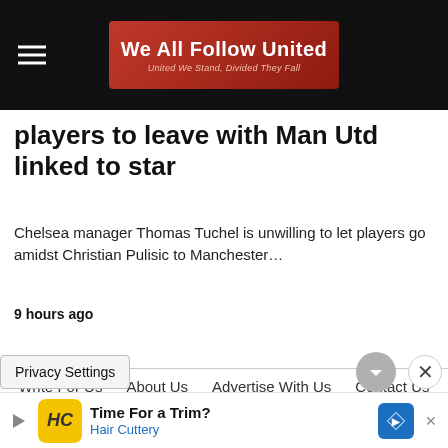We All Follow United — United We Stand, Divided They Fall
players to leave with Man Utd linked to star
Chelsea manager Thomas Tuchel is unwilling to let players go amidst Christian Pulisic to Manchester…
9 hours ago
Write For Us  About Us  Advertise With Us  Contact Us  Privacy Policy  All Rights Reserved  View Non-AMP Version
Privacy Settings
[Figure (advertisement): Hair Cuttery ad: Time For a Trim? with HC logo and blue navigation diamond icon]